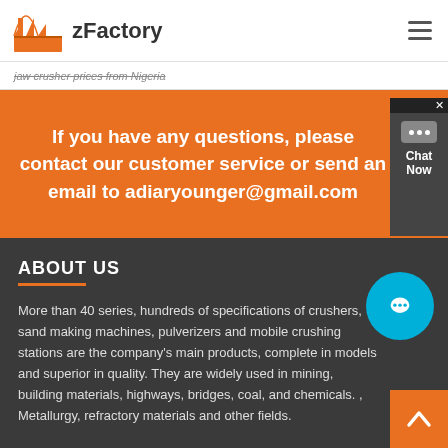zFactory
jaw crusher prices from Nigeria
If you have any questions, please contact our customer service or send an email to adiaryounger@gmail.com
ABOUT US
More than 40 series, hundreds of specifications of crushers, sand making machines, pulverizers and mobile crushing stations are the company's main products, complete in models and superior in quality. They are widely used in mining, building materials, highways, bridges, coal, and chemicals. , Metallurgy, refractory materials and other fields.